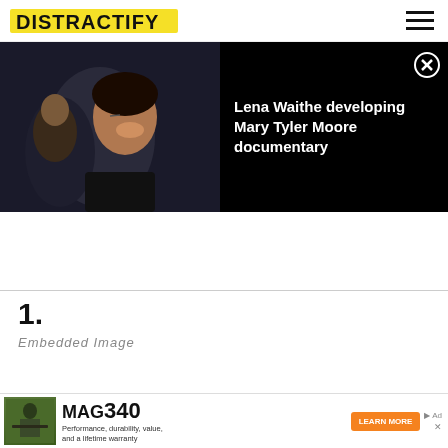DISTRACTIFY
[Figure (screenshot): Video player banner showing a woman laughing/smiling at a dark background event, with a play button overlay. Right side shows dark overlay with text: Lena Waithe developing Mary Tyler Moore documentary. Close (X) button top right.]
Lena Waithe developing Mary Tyler Moore documentary
1.
[Figure (photo): Embedded image placeholder (partially visible, cut off at bottom)]
[Figure (screenshot): Advertisement banner for MAG340 crossbow. Shows soldier with weapon, MAG340 logo, text: Performance, durability, value, and a lifetime warranty. Orange LEARN MORE button. Excalibur brand logo.]